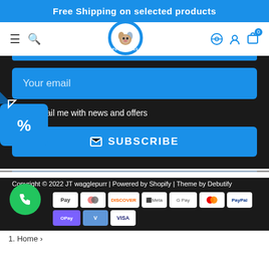Free Shipping on selected products
[Figure (logo): Pettoverse logo - circular badge with cartoon dog/cat face]
Your email
Email me with news and offers
✉ SUBSCRIBE
Copyright © 2022 JT wagglepurr | Powered by Shopify | Theme by Debutify
[Figure (other): Payment method icons: Pay, Diners Club, Discover, Meta Pay, Google Pay, Mastercard, PayPal, OPay, Venmo, Visa]
1. Home ›